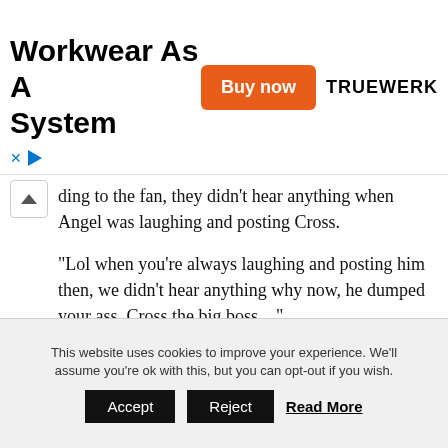[Figure (other): Advertisement banner for Truewerk workwear with title 'Workwear As A System', an orange 'Buy now' button, and the TRUEWERK logo.]
ding to the fan, they didn't hear anything when Angel was laughing and posting Cross.
“Lol when you’re always laughing and posting him then, we didn’t hear anything why now, he dumped your ass. Cross the big boss....”.
Angel Smith stated that she has bigger fish to cry.
“I got bigger fish to fry, little girl”.
This website uses cookies to improve your experience. We’ll assume you’re ok with this, but you can opt-out if you wish.